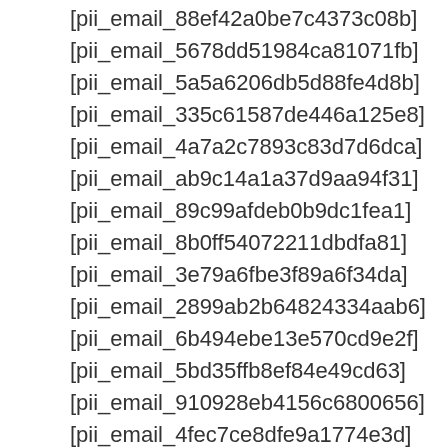[pii_email_88ef42a0be7c4373c08b]
[pii_email_5678dd51984ca81071fb]
[pii_email_5a5a6206db5d88fe4d8b]
[pii_email_335c61587de446a125e8]
[pii_email_4a7a2c7893c83d7d6dca]
[pii_email_ab9c14a1a37d9aa94f31]
[pii_email_89c99afdeb0b9dc1fea1]
[pii_email_8b0ff54072211dbdfa81]
[pii_email_3e79a6fbe3f89a6f34da]
[pii_email_2899ab2b64824334aab6]
[pii_email_6b494ebe13e570cd9e2f]
[pii_email_5bd35ffb8ef84e49cd63]
[pii_email_910928eb4156c6800656]
[pii_email_4fec7ce8dfe9a1774e3d]
[pii_email_b63c52d7d3b7becac2e2]
[pii_email_78874e35b580980e3448]
[pii_email_2c7eb1c65eec516a6e53]
[pii_email_45e9126cfec6df9c4d8f]
[pii_email_c5f92a2c551503181d82]